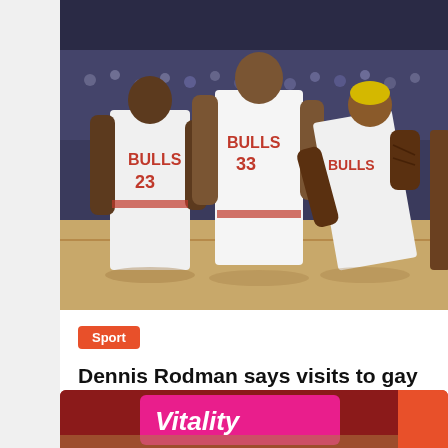[Figure (photo): Chicago Bulls players standing on court in white uniforms — player #23 (Michael Jordan), player #33 (Scottie Pippen), and Dennis Rodman leaning forward, crowd in background]
Sport
Dennis Rodman says visits to gay clubs inspired him during his NBA career
katalisnet   December 1, 2021
[Figure (photo): Partial view of a Vitality branded banner/sign in pink, with partial view of people below and an orange badge on the right]